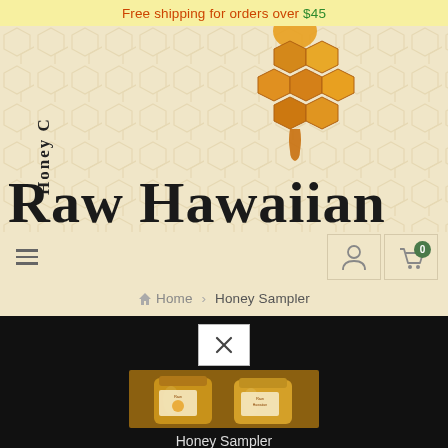Free shipping for orders over $45
[Figure (logo): Raw Hawaiian Honey company logo with honeycomb graphic and dripping honey, text reads 'Honey C' rotated vertically on left and 'Raw Hawaiian' in large serif font]
Home › Honey Sampler
[Figure (photo): Two small jars of Raw Hawaiian honey on a dark background, with a white close/X button above them]
Honey Sampler